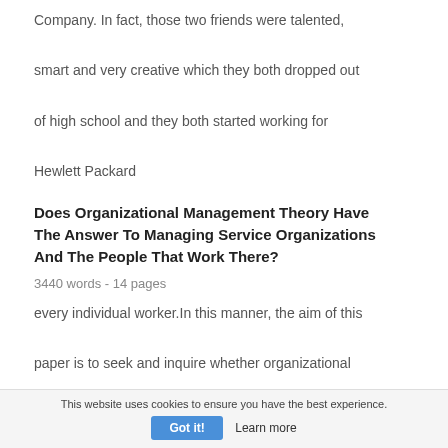Company. In fact, those two friends were talented, smart and very creative which they both dropped out of high school and they both started working for Hewlett Packard
Does Organizational Management Theory Have The Answer To Managing Service Organizations And The People That Work There?
3440 words - 14 pages
every individual worker.In this manner, the aim of this paper is to seek and inquire whether organizational
This website uses cookies to ensure you have the best experience.